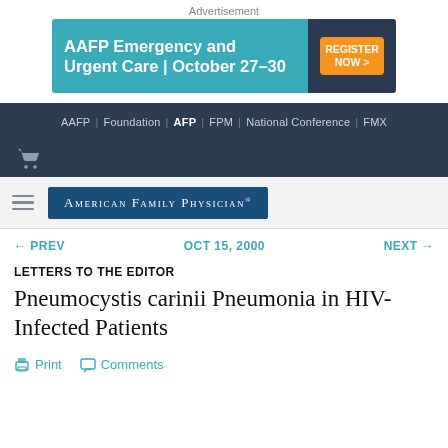Advertisement
[Figure (infographic): AAFP Emergency and Urgent Care | October 27-30 advertisement banner with Register Now button]
AAFP | Foundation | AFP | FPM | National Conference | FMX
[Figure (logo): Shopping cart icon]
[Figure (logo): American Family Physician journal logo with hamburger menu]
← PREV    OCT 15, 2000    NEXT →
LETTERS TO THE EDITOR
Pneumocystis carinii Pneumonia in HIV-Infected Patients
Print   Comments